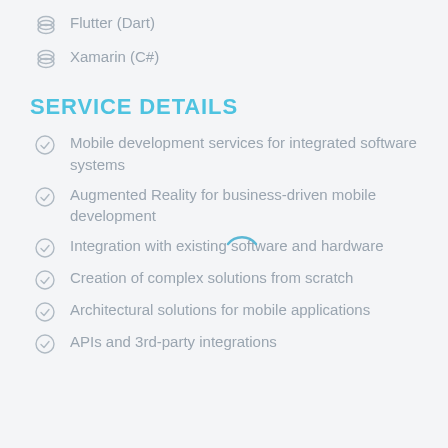Flutter (Dart)
Xamarin (C#)
SERVICE DETAILS
Mobile development services for integrated software systems
Augmented Reality for business-driven mobile development
Integration with existing software and hardware
Creation of complex solutions from scratch
Architectural solutions for mobile applications
APIs and 3rd-party integrations